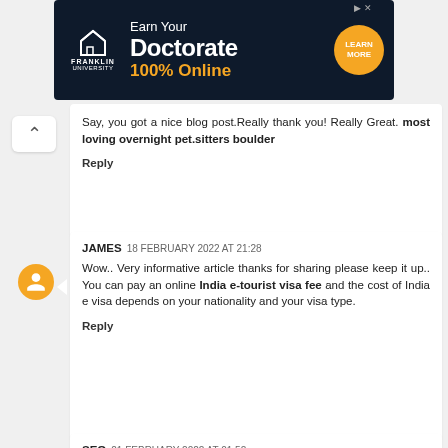[Figure (infographic): Franklin University ad banner: Earn Your Doctorate 100% Online with Learn More button]
Say, you got a nice blog post.Really thank you! Really Great. most loving overnight pet.sitters boulder
Reply
JAMES 18 FEBRUARY 2022 AT 21:28
Wow.. Very informative article thanks for sharing please keep it up.. You can pay an online India e-tourist visa fee and the cost of India e visa depends on your nationality and your visa type.
Reply
SEO 21 FEBRUARY 2022 AT 01:52
I think this is a real great post.Really looking forward to read more. Really Cool. gocengqq